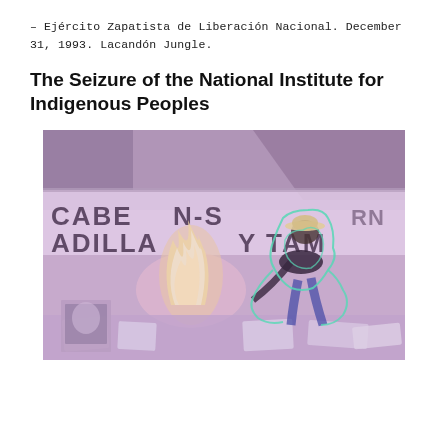– Ejército Zapatista de Liberación Nacional. December 31, 1993. Lacandón Jungle.
The Seizure of the National Institute for Indigenous Peoples
[Figure (photo): A black-and-white photograph with a purple/pink color overlay and green neon-like outline tracing, showing a person in a hat and jeans bending over a fire burning papers and documents on the ground. A banner in the background reads partial text including 'CABER', 'ADILLA', 'N-S', 'Y TAM'. Scattered papers and photographs are visible around the fire.]